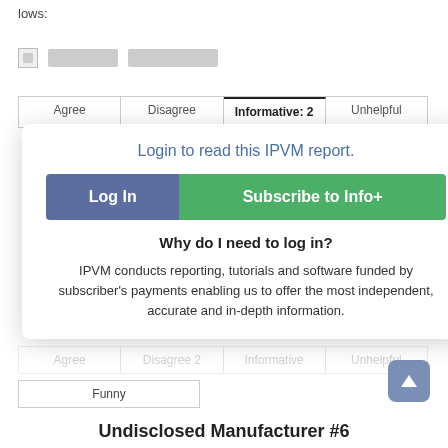lows:
[Figure (screenshot): Blurred image placeholder with icon]
| Agree | Disagree | Informative: 2 | Unhelpful |
| --- | --- | --- | --- |
Login to read this IPVM report.
Log In
Subscribe to Info+
Why do I need to log in?
IPVM conducts reporting, tutorials and software funded by subscriber's payments enabling us to offer the most independent, accurate and in-depth information.
Funny
Undisclosed Manufacturer #6